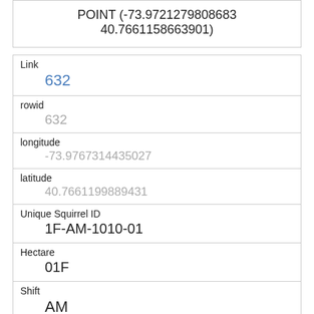POINT (-73.9721279808683 40.7661158663901)
| Field | Value |
| --- | --- |
| Link | 632 |
| rowid | 632 |
| longitude | -73.9767314435027 |
| latitude | 40.7661199889431 |
| Unique Squirrel ID | 1F-AM-1010-01 |
| Hectare | 01F |
| Shift | AM |
| Date | 10102018 |
| Hectare Squirrel Number | 1 |